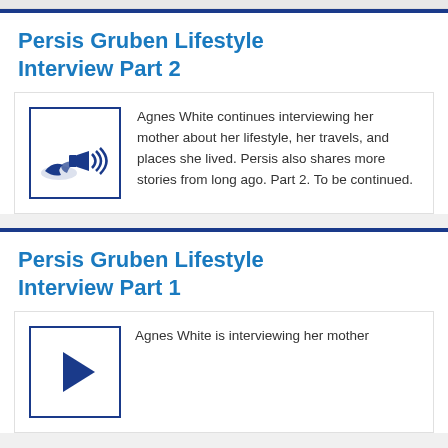Persis Gruben Lifestyle Interview Part 2
[Figure (logo): Blue square icon with a bird and speaker/sound waves symbol]
Agnes White continues interviewing her mother about her lifestyle, her travels, and places she lived. Persis also shares more stories from long ago. Part 2. To be continued.
Persis Gruben Lifestyle Interview Part 1
[Figure (logo): Blue square icon with a play/audio symbol]
Agnes White is interviewing her mother